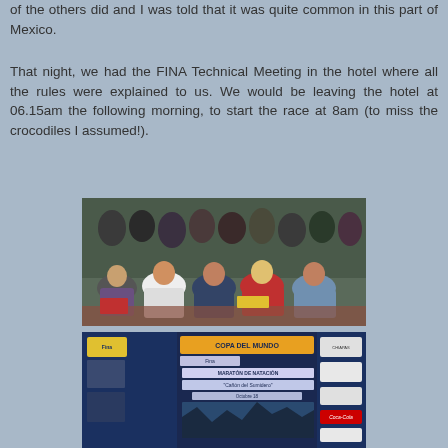of the others did and I was told that it was quite common in this part of Mexico.
That night, we had the FINA Technical Meeting in the hotel where all the rules were explained to us. We would be leaving the hotel at 06.15am the following morning, to start the race at 8am (to miss the crocodiles I assumed!).
[Figure (photo): Group of athletes and officials seated and standing in a room at the FINA Technical Meeting]
[Figure (photo): Banner reading 'COPA DEL MUNDO Fina MARATON DE NATACION Canon del Sumidero Octubre 18' with event branding and sponsor logos including Coca-Cola]